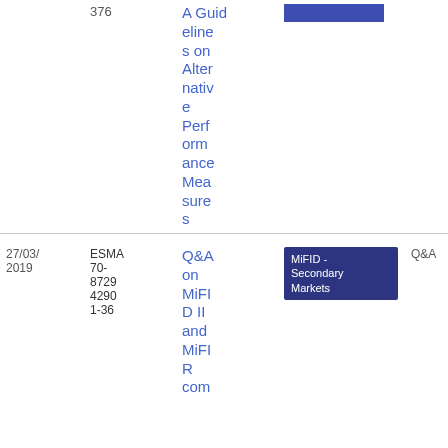| Date | Reference | Title | Tag | Type | Download |
| --- | --- | --- | --- | --- | --- |
|  | 376 | A Guidelines on Alternative Performance Measures | [blue bar] |  | 7.02 KB |
| 27/03/2019 | ESMA70-87294290 1-36 | Q&A on MiFID II and MiFIR com... | MiFID - Secondary Markets | Q&A | PDF 60 2.38 KB |